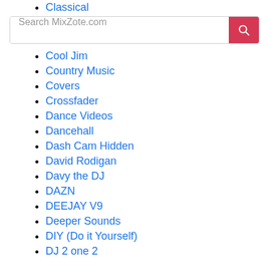Classical
Cool Jim
Country Music
Covers
Crossfader
Dance Videos
Dancehall
Dash Cam Hidden
David Rodigan
Davy the DJ
DAZN
DEEJAY V9
Deeper Sounds
DIY (Do it Yourself)
DJ 2 one 2